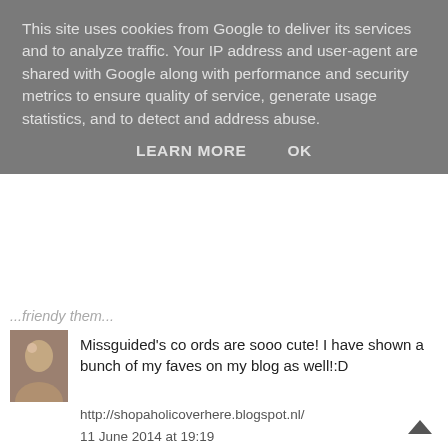This site uses cookies from Google to deliver its services and to analyze traffic. Your IP address and user-agent are shared with Google along with performance and security metrics to ensure quality of service, generate usage statistics, and to detect and address abuse.
LEARN MORE   OK
Missguided's co ords are sooo cute! I have shown a bunch of my faves on my blog as well!:D
http://shopaholicoverhere.blogspot.nl/
11 June 2014 at 19:19
Unknown said...
I love Missguided, they've always got loads I like and they're so affordable! Great post.
www.writtenwithstyle.blogspot.co.uk
x
11 June 2014 at 21:21